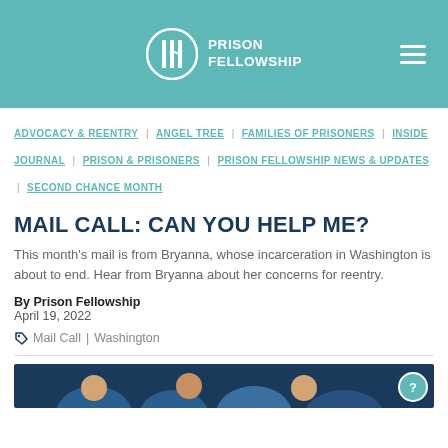Prison Fellowship
ADVOCACY & REENTRY | ANGEL TREE | FAMILIES OF PRISONERS | INSIDE JOURNAL | PRISON & PRISONERS | PRISON FELLOWSHIP NEWS & UPDATES | SECOND CHANCE MONTH
MAIL CALL: CAN YOU HELP ME?
This month's mail is from Bryanna, whose incarceration in Washington is about to end. Hear from Bryanna about her concerns for reentry.
By Prison Fellowship
April 19, 2022
Mail Call | Washington
[Figure (photo): Photo strip at bottom showing people, partial view]